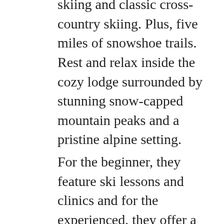skiing and classic cross-country skiing. Plus, five miles of snowshoe trails. Rest and relax inside the cozy lodge surrounded by stunning snow-capped mountain peaks and a pristine alpine setting.
For the beginner, they feature ski lessons and clinics and for the experienced, they offer a Master Ski clinic as well. And for those who ski with their dog(s), they also teach skijoring classes to experienced skiers.
The center offers day passes, punch card passes and season passes. Plus, fun for the entire family, the Nordic center is located across the street from the Frisco Adventure Park where kids (and adults) will enjoy the tubing hill and the beginner ski/ride hill.